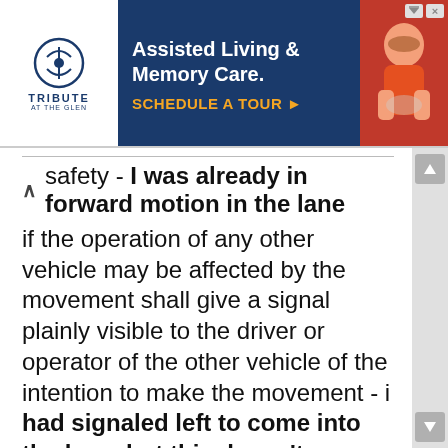[Figure (screenshot): Advertisement banner for Tribute at the Glen assisted living and memory care facility, with logo on left, dark blue center panel with text 'Assisted Living & Memory Care. SCHEDULE A TOUR ►', and photo of elderly person on right.]
safety - I was already in forward motion in the lane if the operation of any other vehicle may be affected by the movement shall give a signal plainly visible to the driver or operator of the other vehicle of the intention to make the movement - i had signaled left to come into the lane, but this doesn't seem